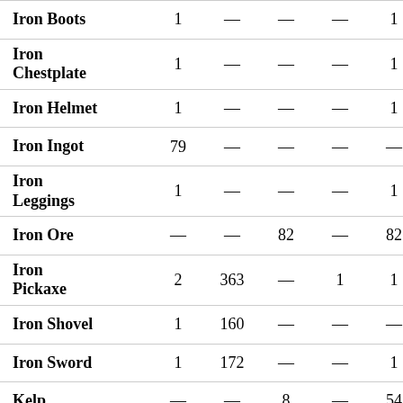| Item | Col1 | Col2 | Col3 | Col4 | Col5 |
| --- | --- | --- | --- | --- | --- |
| Iron Boots | 1 | — | — | — | 1 |
| Iron Chestplate | 1 | — | — | — | 1 |
| Iron Helmet | 1 | — | — | — | 1 |
| Iron Ingot | 79 | — | — | — | — |
| Iron Leggings | 1 | — | — | — | 1 |
| Iron Ore | — | — | 82 | — | 82 |
| Iron Pickaxe | 2 | 363 | — | 1 | 1 |
| Iron Shovel | 1 | 160 | — | — | — |
| Iron Sword | 1 | 172 | — | — | 1 |
| Kelp | — | — | 8 | — | 54 |
| Kelp Plant | — | — | 12 | — | — |
| Lapis Lazuli | — | — | — | — | 79 |